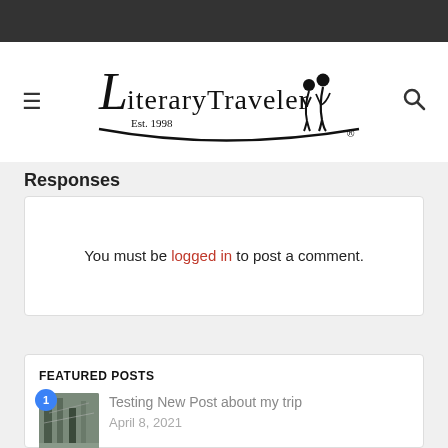[Figure (logo): LiteraryTraveler logo with Est. 1998 and silhouette of two travelers]
Responses
You must be logged in to post a comment.
FEATURED POSTS
Testing New Post about my trip
April 8, 2021